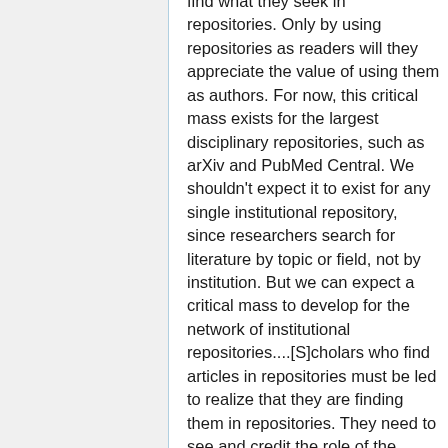find what they seek in repositories. Only by using repositories as readers will they appreciate the value of using them as authors. For now, this critical mass exists for the largest disciplinary repositories, such as arXiv and PubMed Central. We shouldn't expect it to exist for any single institutional repository, since researchers search for literature by topic or field, not by institution. But we can expect a critical mass to develop for the network of institutional repositories....[S]cholars who find articles in repositories must be led to realize that they are finding them in repositories. They need to see and credit the role of the